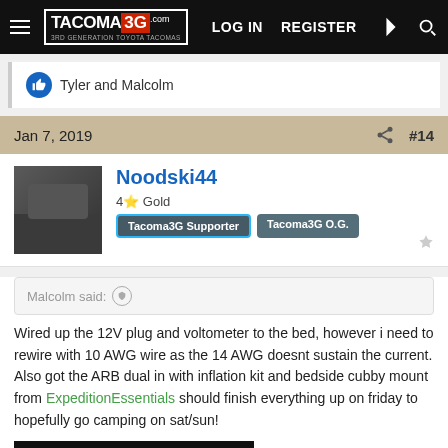TACOMA 3G — LOG IN  REGISTER
👍 Tyler and Malcolm
Jan 7, 2019  #14
Noodski44
4⭐ Gold
Tacoma3G Supporter  Tacoma3G O.G.
Malcolm said: ↑

Wired up the 12V plug and voltometer to the bed, however i need to rewire with 10 AWG wire as the 14 AWG doesnt sustain the current. Also got the ARB dual in with inflation kit and bedside cubby mount from ExpeditionEssentials should finish everything up on friday to hopefully go camping on sat/sun!
[Figure (photo): Dark image of truck bed/garage]
Click to expand...